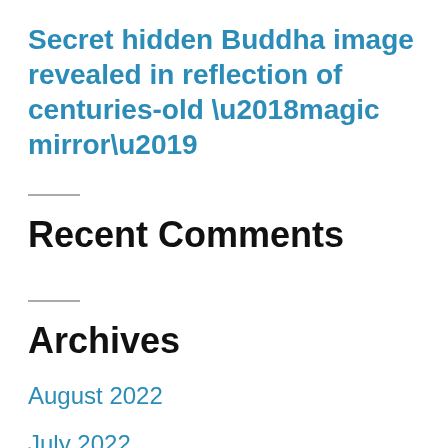Secret hidden Buddha image revealed in reflection of centuries-old ‘magic mirror’
Recent Comments
Archives
August 2022
July 2022